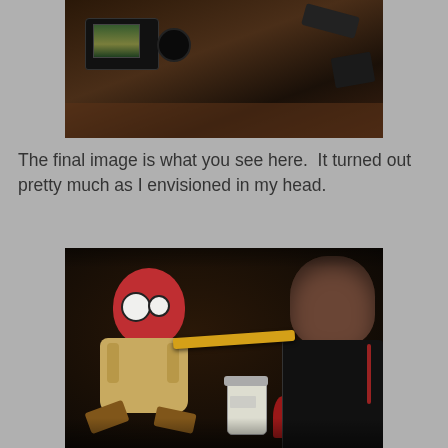[Figure (photo): Behind-the-scenes photo showing camera equipment and filming setup on a wooden surface]
The final image is what you see here.  It turned out pretty much as I envisioned in my head.
[Figure (photo): Dark atmospheric photo of a red-headed puppet/marionette being painted or worked on by a figure in black leather, with a yellow blowpipe and a white jar visible]
Dave DeBaeremaeker at 3:21 PM    No comments:
THURSDAY, MAY 06, 2021